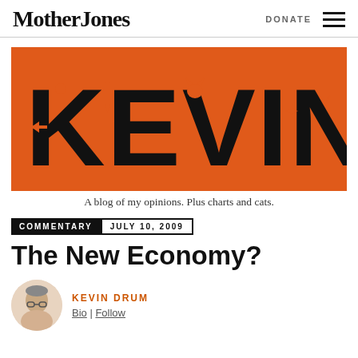Mother Jones | DONATE
[Figure (illustration): Kevin Drum blog banner — orange background with large decorative black lettering spelling KEVIN DRUM with illustrated icons embedded in letters]
A blog of my opinions. Plus charts and cats.
COMMENTARY  JULY 10, 2009
The New Economy?
KEVIN DRUM
Bio | Follow